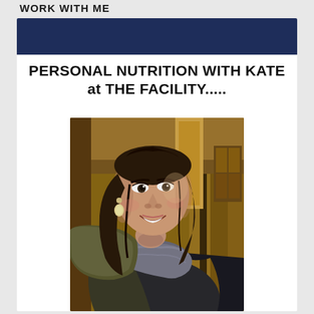WORK WITH ME
[Figure (other): Navy blue banner header bar at top of white card]
PERSONAL NUTRITION WITH KATE at THE FACILITY.....
[Figure (photo): A smiling woman with dark hair, wearing drop earrings, a scarf, and a dark jacket, photographed in front of wooden structures in natural light]